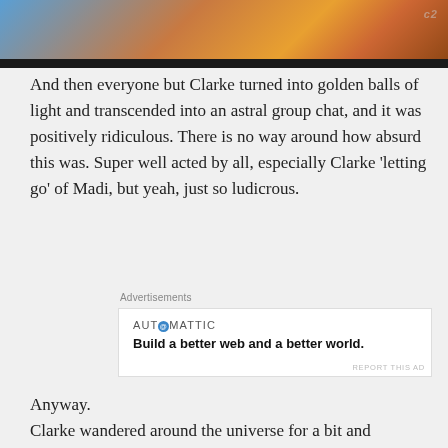[Figure (screenshot): Top portion of a video screenshot showing a fantasy/sci-fi scene with golden and blue tones, with a dark bar at the bottom and a watermark in the top right corner]
And then everyone but Clarke turned into golden balls of light and transcended into an astral group chat, and it was positively ridiculous. There is no way around how absurd this was. Super well acted by all, especially Clarke ‘letting go’ of Madi, but yeah, just so ludicrous.
Advertisements
[Figure (screenshot): Advertisement: AUTOMATTIC logo with tagline 'Build a better web and a better world.']
Anyway.
Clarke wandered around the universe for a bit and
Advertisements
[Figure (screenshot): Advertisement: Bloomingdales - 'View Today’s Top Deals!' with SHOP NOW > button and woman wearing a large hat]